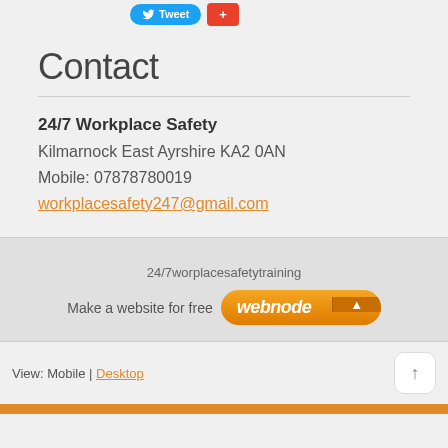Tweet [button] [+1 button]
Contact
24/7 Workplace Safety
Kilmarnock East Ayrshire KA2 0AN
Mobile: 07878780019
workplacesafety247@gmail.com
24/7worplacesafetytraining
Make a website for free [webnode button]
View: Mobile | Desktop